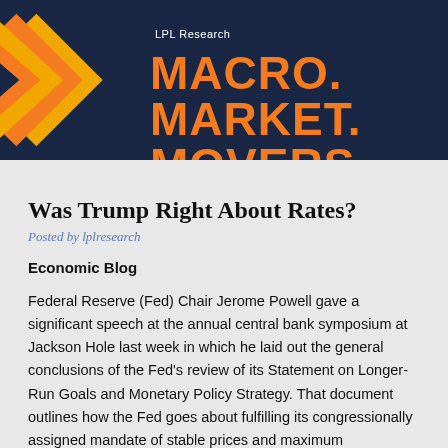[Figure (logo): LPL Research Macro. Market. Movers. header banner with dark navy background, orange chevron arrows on left, and orange bold text reading MACRO. MARKET. MOVERS.]
Was Trump Right About Rates?
Posted by lplresearch
Economic Blog
Federal Reserve (Fed) Chair Jerome Powell gave a significant speech at the annual central bank symposium at Jackson Hole last week in which he laid out the general conclusions of the Fed's review of its Statement on Longer-Run Goals and Monetary Policy Strategy. That document outlines how the Fed goes about fulfilling its congressionally assigned mandate of stable prices and maximum sustainable employment. The